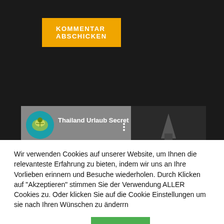[Figure (screenshot): Dark background website section with orange 'KOMMENTAR ABSCHICKEN' button at top]
SECRET BUDDHA GARDEN KO SAMUI THAILAND
[Figure (screenshot): Video thumbnail showing 'Thailand Urlaub Secret Budd...' with turtle logo icon on left and dark statue image on right]
Wir verwenden Cookies auf unserer Website, um Ihnen die relevanteste Erfahrung zu bieten, indem wir uns an Ihre Vorlieben erinnern und Besuche wiederholen. Durch Klicken auf "Akzeptieren" stimmen Sie der Verwendung ALLER Cookies zu. Oder klicken Sie auf die Cookie Einstellungen um sie nach Ihren Wünschen zu änderrn
Cookie Einstellungen
ACCEPT